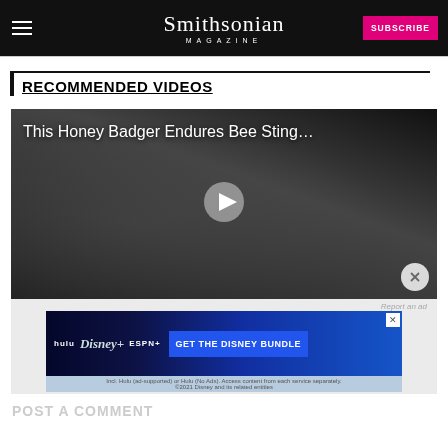Smithsonian MAGAZINE
RECOMMENDED VIDEOS
[Figure (screenshot): Video thumbnail showing a honey badger with overlay text 'This Honey Badger Endures Bee Sting...' and a play button in the center. A close (X) button is in the lower right corner.]
[Figure (screenshot): Disney Bundle advertisement showing Hulu, Disney+, ESPN+ logos with 'GET THE DISNEY BUNDLE' call to action. Fine print reads: Incl. Hulu (ad-supported) or Hulu (No Ads). Access content from each service separately. ©2021 Disney and its related entities]
Report an ad
POST A COMMENT